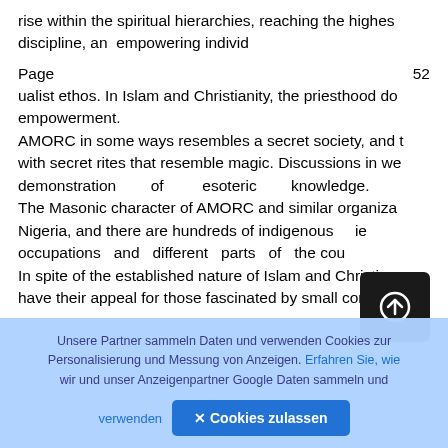rise within the spiritual hierarchies, reaching the highest discipline, an empowering individ
Page  52
ualist ethos. In Islam and Christianity, the priesthood do empowerment. AMORC in some ways resembles a secret society, and t with secret rites that resemble magic. Discussions in we demonstration of esoteric knowledge. The Masonic character of AMORC and similar organiza Nigeria, and there are hundreds of indigenous ie occupations and different parts of the cou In spite of the established nature of Islam and Christian have their appeal for those fascinated by small congre
Unsere Partner sammeln Daten und verwenden Cookies zur Personalisierung und Messung von Anzeigen. Erfahren Sie, wie wir und unser Anzeigenpartner Google Daten sammeln und verwenden
✕ Cookies zulassen